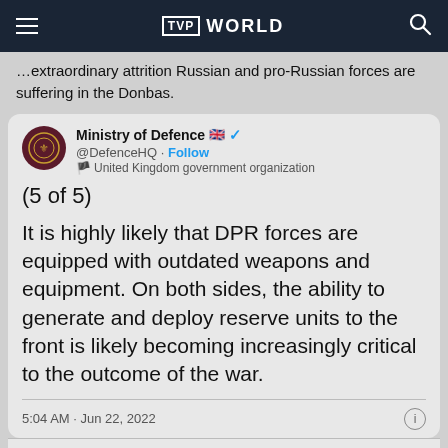TVP WORLD
extraordinary attrition Russian and pro-Russian forces are suffering in the Donbas.
Ministry of Defence 🇬🇧 ✓ @DefenceHQ · Follow 🏴 United Kingdom government organization
(5 of 5)
It is highly likely that DPR forces are equipped with outdated weapons and equipment. On both sides, the ability to generate and deploy reserve units to the front is likely becoming increasingly critical to the outcome of the war.
5:04 AM · Jun 22, 2022
225  Reply  Copy link